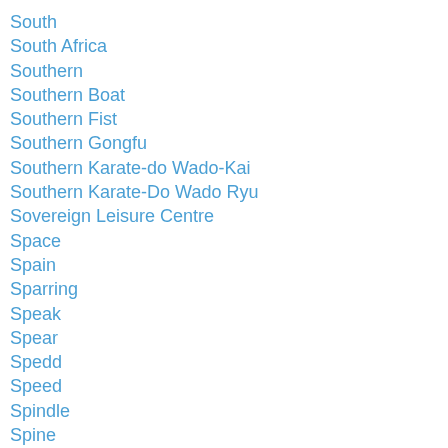South
South Africa
Southern
Southern Boat
Southern Fist
Southern Gongfu
Southern Karate-do Wado-Kai
Southern Karate-Do Wado Ryu
Sovereign Leisure Centre
Space
Spain
Sparring
Speak
Spear
Spedd
Speed
Spindle
Spine
Spinning
Spirit